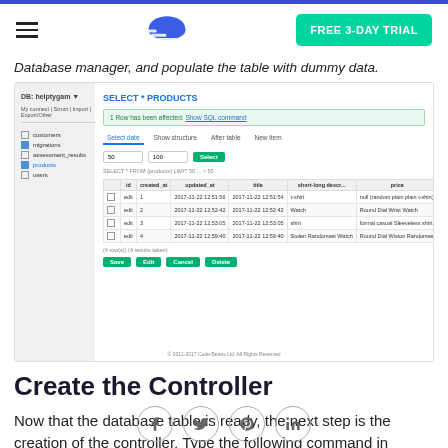Navigation header with hamburger menu, cloud logo, and FREE 3-DAY TRIAL button
Database manager, and populate the table with dummy data.
[Figure (screenshot): Screenshot of a web database manager showing the products table with SELECT * FROM products query results. The table displays 4 rows of product data including id, created_at, updated_at, type, and price columns. Green action buttons (Save, Edit, Cancel, Delete) are shown at the bottom.]
Create the Controller
Now that the database table is ready, the next step is the creation of the controller. Type the following command in
[Figure (other): Social media share buttons: Facebook, Twitter, Pinterest, LinkedIn]